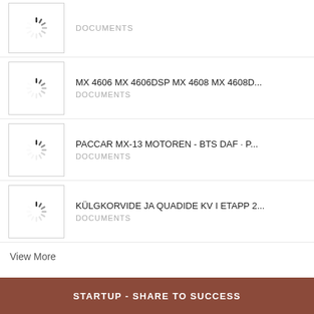[Figure (other): Loading spinner thumbnail (partial, top-cropped)]
DOCUMENTS
[Figure (other): Loading spinner thumbnail]
MX 4606 MX 4606DSP MX 4608 MX 4608D...
DOCUMENTS
[Figure (other): Loading spinner thumbnail]
PACCAR MX-13 MOTOREN - BTS DAF · P...
DOCUMENTS
[Figure (other): Loading spinner thumbnail]
KÜLGKORVIDE JA QUADIDE KV I ETAPP 2...
DOCUMENTS
View More
STARTUP - SHARE TO SUCCESS